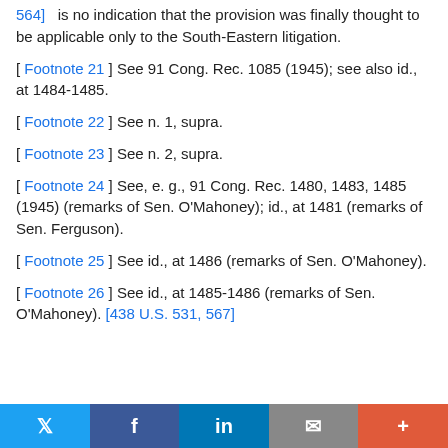564]   is no indication that the provision was finally thought to be applicable only to the South-Eastern litigation.
[ Footnote 21 ] See 91 Cong. Rec. 1085 (1945); see also id., at 1484-1485.
[ Footnote 22 ] See n. 1, supra.
[ Footnote 23 ] See n. 2, supra.
[ Footnote 24 ] See, e. g., 91 Cong. Rec. 1480, 1483, 1485 (1945) (remarks of Sen. O'Mahoney); id., at 1481 (remarks of Sen. Ferguson).
[ Footnote 25 ] See id., at 1486 (remarks of Sen. O'Mahoney).
[ Footnote 26 ] See id., at 1485-1486 (remarks of Sen. O'Mahoney). [438 U.S. 531, 567]
Social share bar: Twitter, Facebook, LinkedIn, Email, More